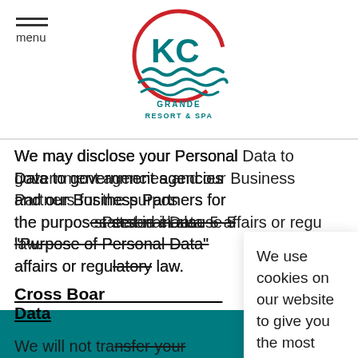menu — KC Grande Resort & Spa
We may disclose your Personal Data to government agencies and our Business Partners for the purposes stated in clause 5 "Purpose of Personal Data" where it is related to government affairs or regulations, or where it is required by law.
Cross Border Data
We will not transfer your Personal Data outside Thailand unless it is in compliance with law and with the same standard of protection as provided under this Notice or where there is a legal necessity to s...
We use cookies on our website to give you the most relevant experience by remembering your preferences and repeat visits. By clicking “Accept All”, you consent to the use of ALL the cookies. However, you may visit “Cookie Settings” to provide a controlled consent. Please read Privacy Policy for more information.
Accept